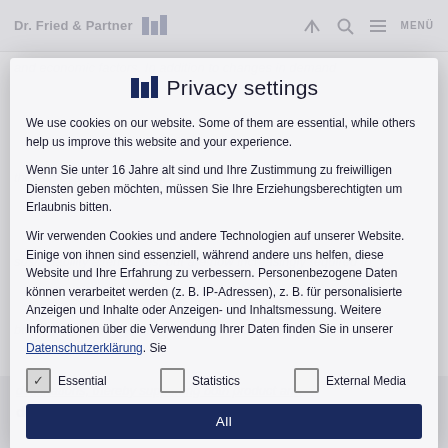Dr. Fried & Partner | MENÜ
Privacy settings
We use cookies on our website. Some of them are essential, while others help us improve this website and your experience.
Wenn Sie unter 16 Jahre alt sind und Ihre Zustimmung zu freiwilligen Diensten geben möchten, müssen Sie Ihre Erziehungsberechtigten um Erlaubnis bitten.
Wir verwenden Cookies und andere Technologien auf unserer Website. Einige von ihnen sind essenziell, während andere uns helfen, diese Website und Ihre Erfahrung zu verbessern. Personenbezogene Daten können verarbeitet werden (z. B. IP-Adressen), z. B. für personalisierte Anzeigen und Inhalte oder Anzeigen- und Inhaltsmessung. Weitere Informationen über die Verwendung Ihrer Daten finden Sie in unserer Datenschutzerklärung. Sie
Essential
Statistics
External Media
All